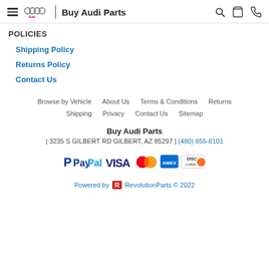Buy Audi Parts
POLICIES
Shipping Policy
Returns Policy
Contact Us
Browse by Vehicle   About Us   Terms & Conditions   Returns   Shipping   Privacy   Contact Us   Sitemap
Buy Audi Parts | 3235 S GILBERT RD GILBERT, AZ 85297 | (480) 855-8101
[Figure (logo): Payment method logos: PayPal, VISA, Mastercard, American Express, Discover]
Powered by RevolutionParts © 2022